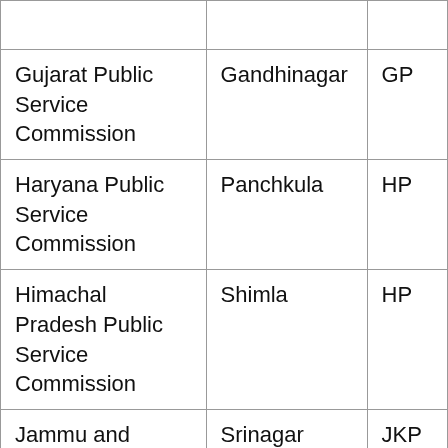|  |  |  |
| Gujarat Public Service Commission | Gandhinagar | GP |
| Haryana Public Service Commission | Panchkula | HP |
| Himachal Pradesh Public Service Commission | Shimla | HP |
| Jammu and Kashmir Public Service Commission | Srinagar | JKP |